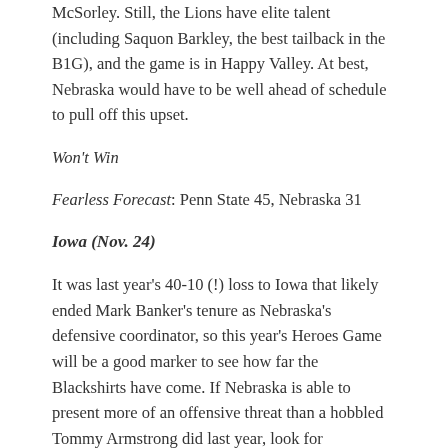McSorley. Still, the Lions have elite talent (including Saquon Barkley, the best tailback in the B1G), and the game is in Happy Valley. At best, Nebraska would have to be well ahead of schedule to pull off this upset.
Won't Win
Fearless Forecast: Penn State 45, Nebraska 31
Iowa (Nov. 24)
It was last year's 40-10 (!) loss to Iowa that likely ended Mark Banker's tenure as Nebraska's defensive coordinator, so this year's Heroes Game will be a good marker to see how far the Blackshirts have come. If Nebraska is able to present more of an offensive threat than a hobbled Tommy Armstrong did last year, look for